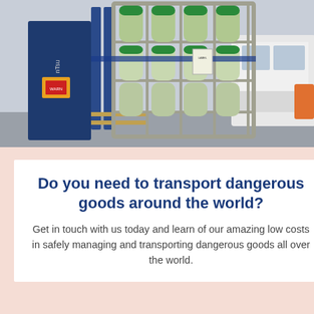[Figure (photo): A forklift carrying a metal cage/rack loaded with green industrial gas cylinders. The forklift brand appears to be Komatsu. There is a white van in the background on the right side. The setting appears to be an outdoor industrial or warehouse area.]
Do you need to transport dangerous goods around the world?
Get in touch with us today and learn of our amazing low costs in safely managing and transporting dangerous goods all over the world.